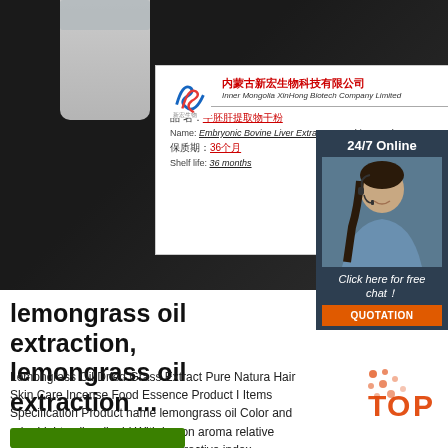[Figure (photo): Product photo showing a white jar/bottle against dark background with a company label card. Label shows Inner Mongolia XinHong Biotech Company Limited with product details in Chinese and English. Shelf life 36 months.]
[Figure (photo): 24/7 Online chat widget showing a customer service representative wearing a headset, with 'Click here for free chat!' text and an orange QUOTATION button.]
lemongrass oil extraction, lemongrass oil extraction ...
Lemongrass Oil Dried Grass Extract Pure Natural Hair Skin Care Incense Food Essence Product In Items Specification Product name lemongrass oil Color and odor Light yellow liquid With lemon aroma relative density 0.894 &mdash;0.904 Refractive index 1.483&mdash;1.489 Specific rotation -3°&mdash;+1° Acid value &e solubility Soluble in ...